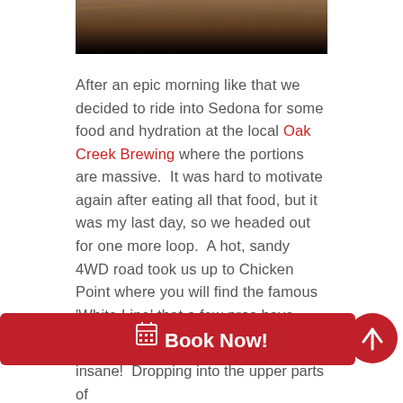[Figure (photo): Partial view of a rocky canyon landscape photo, cropped at top, fading to black at the bottom edge.]
After an epic morning like that we decided to ride into Sedona for some food and hydration at the local Oak Creek Brewing where the portions are massive.  It was hard to motivate again after eating all that food, but it was my last day, so we headed out for one more loop.  A hot, sandy 4WD road took us up to Chicken Point where you will find the famous 'White Line' that a few pros have
[Figure (other): Red 'Book Now!' button bar with calendar icon, and a red circular scroll-up button on the right.]
insane!  Dropping into the upper parts of